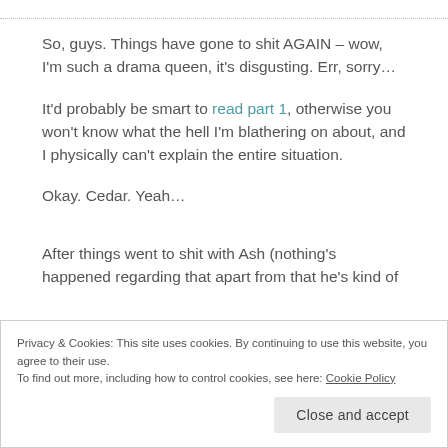So, guys. Things have gone to shit AGAIN – wow, I'm such a drama queen, it's disgusting. Err, sorry…
It'd probably be smart to read part 1, otherwise you won't know what the hell I'm blathering on about, and I physically can't explain the entire situation.
Okay. Cedar. Yeah…
After things went to shit with Ash (nothing's happened regarding that apart from that he's kind of
Ah… Perhaps that wasn't the smartest of moves?
Privacy & Cookies: This site uses cookies. By continuing to use this website, you agree to their use.
To find out more, including how to control cookies, see here: Cookie Policy